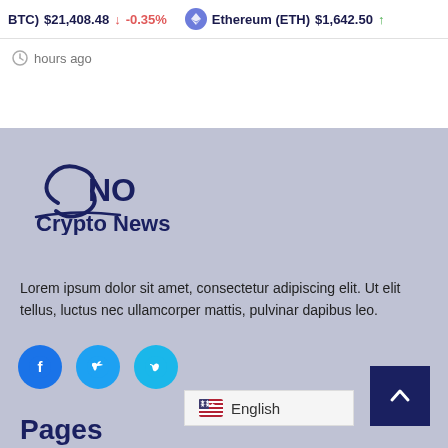BTC $21,408.48 ↓ -0.35% Ethereum (ETH) $1,642.50 ↑
hours ago
[Figure (logo): CNO Crypto News logo in dark navy blue]
Lorem ipsum dolor sit amet, consectetur adipiscing elit. Ut elit tellus, luctus nec ullamcorper mattis, pulvinar dapibus leo.
[Figure (infographic): Three social media icons: Facebook (blue circle), Twitter (blue circle), Vimeo (cyan circle)]
Pages
English